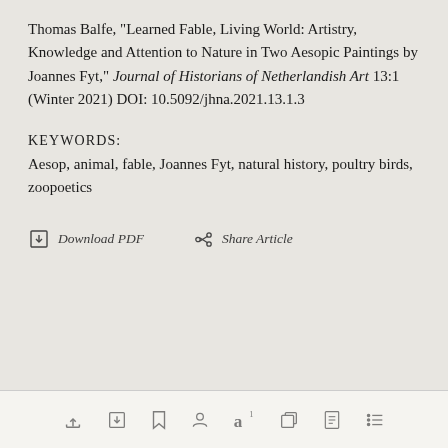Thomas Balfe, "Learned Fable, Living World: Artistry, Knowledge and Attention to Nature in Two Aesopic Paintings by Joannes Fyt," Journal of Historians of Netherlandish Art 13:1 (Winter 2021) DOI: 10.5092/jhna.2021.13.1.3
KEYWORDS:
Aesop, animal, fable, Joannes Fyt, natural history, poultry birds, zoopoetics
Download PDF   Share Article
[Figure (infographic): Bottom toolbar with icons: share, download, bookmark, person, bold-a with superscript 1, copy, document, list]